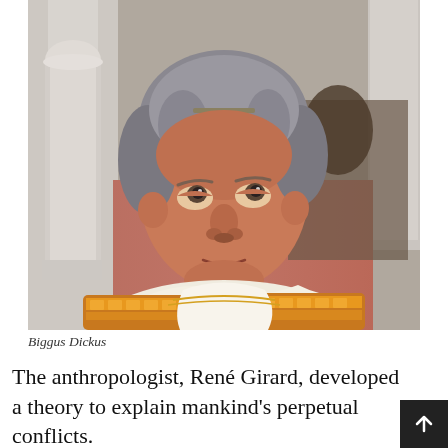[Figure (photo): A man dressed in Roman costume — white and gold toga with red and gold decorated shoulders — looking upward. He has grey hair with a small laurel-like accessory. Background shows classical white columns and a red wall.]
Biggus Dickus
The anthropologist, René Girard, developed a theory to explain mankind's perpetual conflicts.